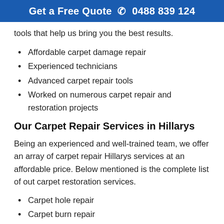Get a Free Quote 📞 0488 839 124
tools that help us bring you the best results.
Affordable carpet damage repair
Experienced technicians
Advanced carpet repair tools
Worked on numerous carpet repair and restoration projects
Our Carpet Repair Services in Hillarys
Being an experienced and well-trained team, we offer an array of carpet repair Hillarys services at an affordable price. Below mentioned is the complete list of out carpet restoration services.
Carpet hole repair
Carpet burn repair
Carpet Laying